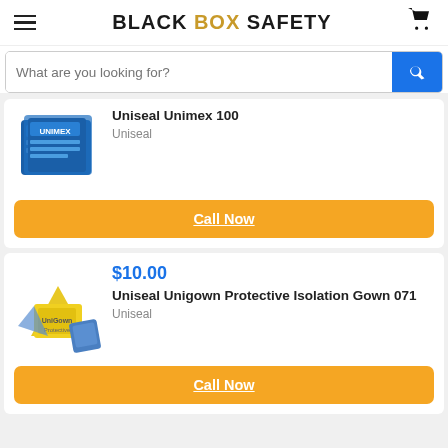BLACK BOX SAFETY
What are you looking for?
Uniseal Unimex 100
Uniseal
Call Now
$10.00
Uniseal Unigown Protective Isolation Gown 071
Uniseal
Call Now